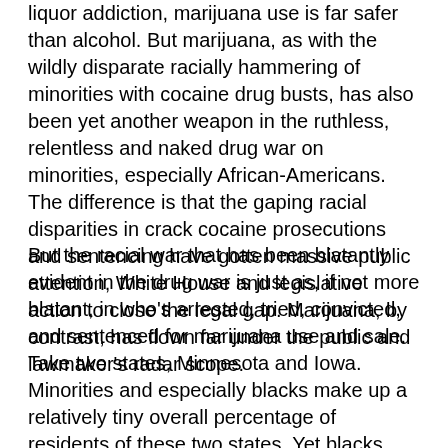liquor addiction, marijuana use is far safer than alcohol. But marijuana, as with the wildly disparate racially hammering of minorities with cocaine drug busts, has also been yet another weapon in the ruthless, relentless and naked drug war on minorities, especially African-Americans. The difference is that the gaping racial disparities in crack cocaine prosecutions and sentencing have gotten massive public attention, White House and legislative action to close the legal gap. Marijuana, by contrast, has flown far under the public and lawmaker's radar scope.
But the racial war that has been blatantly evident in the drug war is just as, if not more blatant, in who's arrested, tried, convicted, and sentenced for marijuana use and sale. Take two states, Minnesota and Iowa. Minorities and especially blacks make up a relatively tiny overall percentage of residents of these two states. Yet blacks were eight times more likely to be arrested than whites. An ACLU study released last